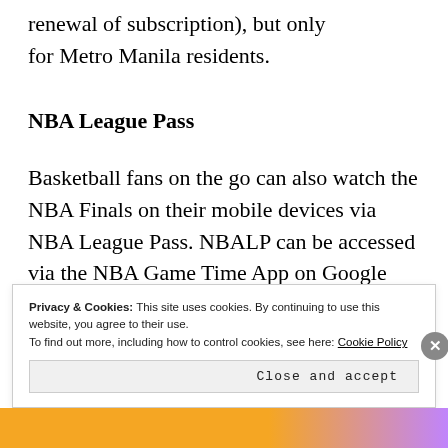renewal of subscription), but only for Metro Manila residents.
NBA League Pass
Basketball fans on the go can also watch the NBA Finals on their mobile devices via NBA League Pass. NBALP can be accessed via the NBA Game Time App on Google Play or Apple Store.
Privacy & Cookies: This site uses cookies. By continuing to use this website, you agree to their use.
To find out more, including how to control cookies, see here: Cookie Policy
Close and accept